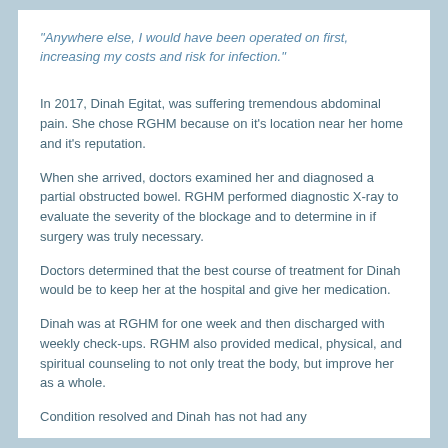"Anywhere else, I would have been operated on first, increasing my costs and risk for infection."
In 2017, Dinah Egitat, was suffering tremendous abdominal pain. She chose RGHM because on it's location near her home and it's reputation.
When she arrived, doctors examined her and diagnosed a partial obstructed bowel. RGHM performed diagnostic X-ray to evaluate the severity of the blockage and to determine in if surgery was truly necessary.
Doctors determined that the best course of treatment for Dinah would be to keep her at the hospital and give her medication.
Dinah was at RGHM for one week and then discharged with weekly check-ups. RGHM also provided medical, physical, and spiritual counseling to not only treat the body, but improve her as a whole.
Condition resolved and Dinah has not had any